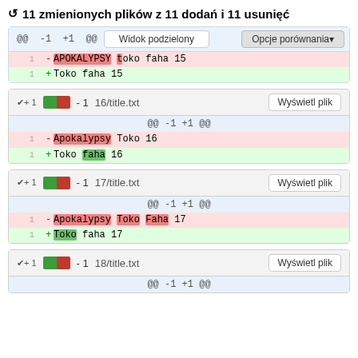↻ 11 zmienionych plików z 11 dodań i 11 usunięć
[Figure (screenshot): Git diff view showing file changes with split view toolbar and comparison options. Shows first file diff with removed line '- APOKALYPSY toko faha 15' and added line '+ Toko faha 15'.]
[Figure (screenshot): Diff block for 16/title.txt: removed 'Apokalypsy Toko 16', added 'Toko faha 16'.]
[Figure (screenshot): Diff block for 17/title.txt: removed 'Apokalypsy Toko Faha 17', added 'Toko faha 17'.]
[Figure (screenshot): Diff block for 18/title.txt: partial view showing @@ -1 +1 @@]